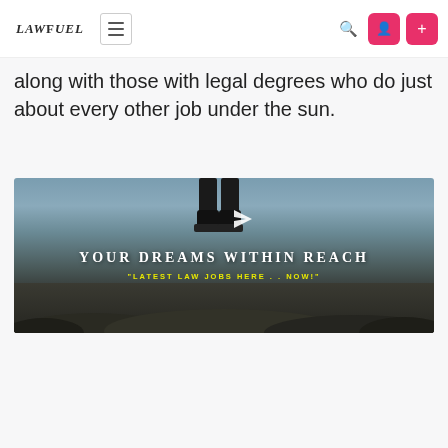LawFuel
along with those with legal degrees who do just about every other job under the sun.
[Figure (photo): Advertisement banner showing boots/legs standing on rocky terrain with text 'YOUR DREAMS WITHIN REACH' and '"LATEST LAW JOBS HERE . . NOW!"']